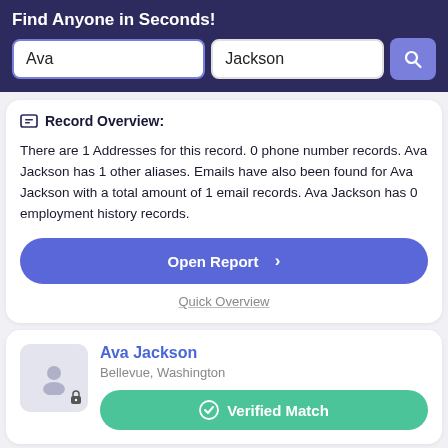Find Anyone in Seconds!
Ava | Jackson
Record Overview:
There are 1 Addresses for this record. 0 phone number records. Ava Jackson has 1 other aliases. Emails have also been found for Ava Jackson with a total amount of 1 email records. Ava Jackson has 0 employment history records.
Open Report >
Quick Overview
Ava Jackson
Bellevue, Washington
Verified Match